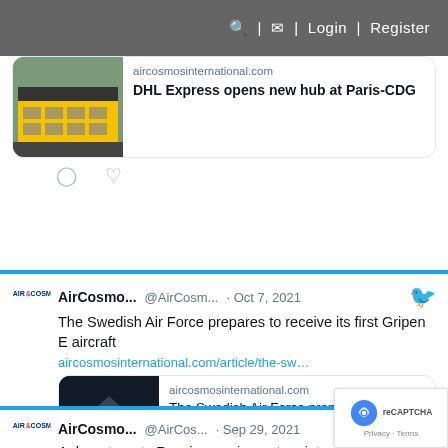aircosmosinternational.com | Login | Register
[Figure (screenshot): DHL Express hub building aerial photo thumbnail]
aircosmosinternational.com
DHL Express opens new hub at Paris-CDG
AirCosmo... @AirCosm... · Oct 7, 2021
The Swedish Air Force prepares to receive its first Gripen E aircraft
aircosmosinternational.com/article/the-sw...
[Figure (screenshot): Gripen E aircraft photo thumbnail with preview card showing: aircosmosinternational.com / The Swedish Air Force prepares to receive its first ...]
AirCosmo... @AirCos... · Sep 29, 2021
Ankara targets Russian equipment maintenance market through Kiev
aircosmosinternational.com/article/ankara...